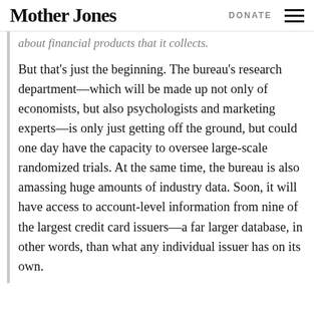Mother Jones   DONATE ☰
about financial products that it collects.
But that's just the beginning. The bureau's research department—which will be made up not only of economists, but also psychologists and marketing experts—is only just getting off the ground, but could one day have the capacity to oversee large-scale randomized trials. At the same time, the bureau is also amassing huge amounts of industry data. Soon, it will have access to account-level information from nine of the largest credit card issuers—a far larger database, in other words, than what any individual issuer has on its own.